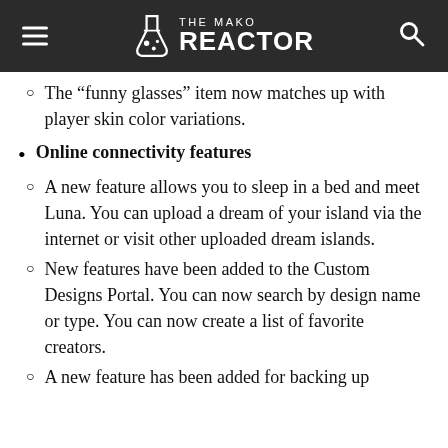THE MAKO REACTOR
The “funny glasses” item now matches up with player skin color variations.
Online connectivity features
A new feature allows you to sleep in a bed and meet Luna. You can upload a dream of your island via the internet or visit other uploaded dream islands.
New features have been added to the Custom Designs Portal. You can now search by design name or type. You can now create a list of favorite creators.
A new feature has been added for backing up...